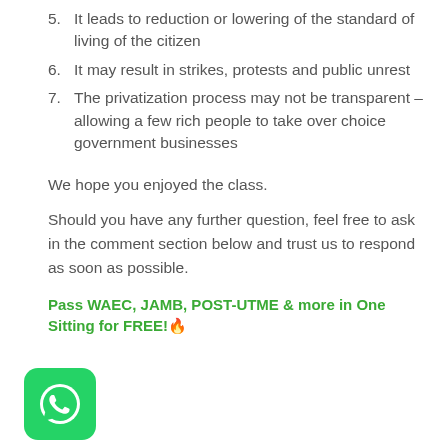5. It leads to reduction or lowering of the standard of living of the citizen
6. It may result in strikes, protests and public unrest
7. The privatization process may not be transparent – allowing a few rich people to take over choice government businesses
We hope you enjoyed the class.
Should you have any further question, feel free to ask in the comment section below and trust us to respond as soon as possible.
Pass WAEC, JAMB, POST-UTME & more in One Sitting for FREE!🔥
[Figure (logo): WhatsApp icon with green rounded square background]